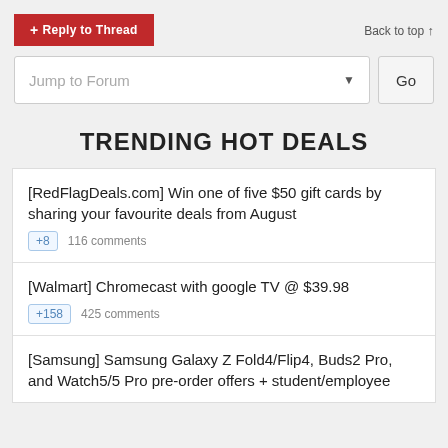+ Reply to Thread
Back to top ↑
Jump to Forum
Go
TRENDING HOT DEALS
[RedFlagDeals.com] Win one of five $50 gift cards by sharing your favourite deals from August
+8  116 comments
[Walmart] Chromecast with google TV @ $39.98
+158  425 comments
[Samsung] Samsung Galaxy Z Fold4/Flip4, Buds2 Pro, and Watch5/5 Pro pre-order offers + student/employee